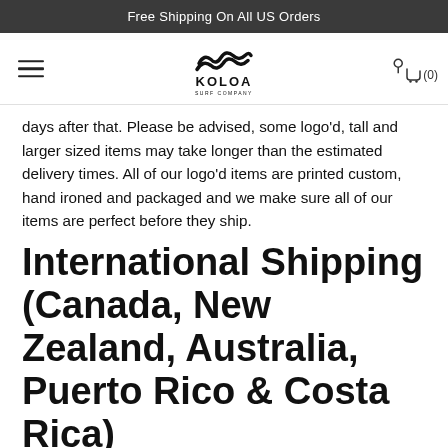Free Shipping On All US Orders
[Figure (logo): Koloa Surf Company logo — stylized wave icon above the text KOLOA with SURF COMPANY below]
days after that. Please be advised, some logo'd, tall and larger sized items may take longer than the estimated delivery times. All of our logo'd items are printed custom, hand ironed and packaged and we make sure all of our items are perfect before they ship.
International Shipping (Canada, New Zealand, Australia, Puerto Rico & Costa Rica)